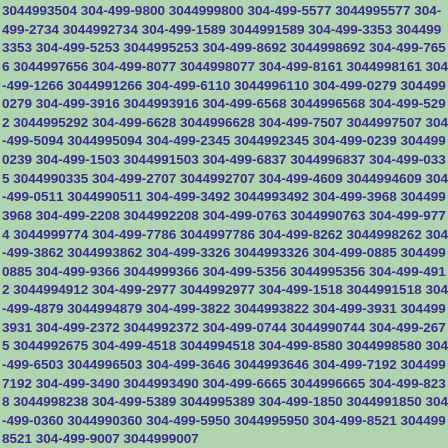3044993504 304-499-9800 3044999800 304-499-5577 3044995577 304-499-2734 3044992734 304-499-1589 3044991589 304-499-3353 3044993353 304-499-5253 3044995253 304-499-8692 3044998692 304-499-7656 3044997656 304-499-8077 3044998077 304-499-8161 3044998161 304-499-1266 3044991266 304-499-6110 3044996110 304-499-0279 3044990279 304-499-3916 3044993916 304-499-6568 3044996568 304-499-5292 3044995292 304-499-6628 3044996628 304-499-7507 3044997507 304-499-5094 3044995094 304-499-2345 3044992345 304-499-0239 3044990239 304-499-1503 3044991503 304-499-6837 3044996837 304-499-0335 3044990335 304-499-2707 3044992707 304-499-4609 3044994609 304-499-0511 3044990511 304-499-3492 3044993492 304-499-3968 3044993968 304-499-2208 3044992208 304-499-0763 3044990763 304-499-9774 3044999774 304-499-7786 3044997786 304-499-8262 3044998262 304-499-3862 3044993862 304-499-3326 3044993326 304-499-0885 3044990885 304-499-9366 3044999366 304-499-5356 3044995356 304-499-4912 3044994912 304-499-2977 3044992977 304-499-1518 3044991518 304-499-4879 3044994879 304-499-3822 3044993822 304-499-3931 3044993931 304-499-2372 3044992372 304-499-0744 3044990744 304-499-2675 3044992675 304-499-4518 3044994518 304-499-8580 3044998580 304-499-6503 3044996503 304-499-3646 3044993646 304-499-7192 3044997192 304-499-3490 3044993490 304-499-6665 3044996665 304-499-8238 3044998238 304-499-5389 3044995389 304-499-1850 3044991850 304-499-0360 3044990360 304-499-5950 3044995950 304-499-8521 3044998521 304-499-9007 3044999007